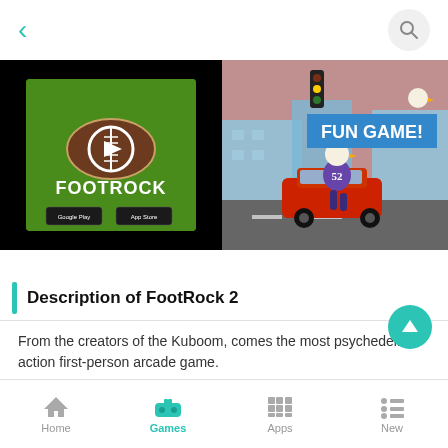[Figure (screenshot): Mobile app top navigation bar with back arrow (teal) on left and search icon on right]
[Figure (screenshot): FootRock 2 game promo image on black background showing football-themed logo with play button, Google Play and App Store badges]
[Figure (screenshot): Fun Game! screenshot showing animated football player (eagle mascot #52) running from a car in a city street scene]
Description of FootRock 2
From the creators of the Kuboom, comes the most psychedelic action first-person arcade game.
Home | Games | Apps | New